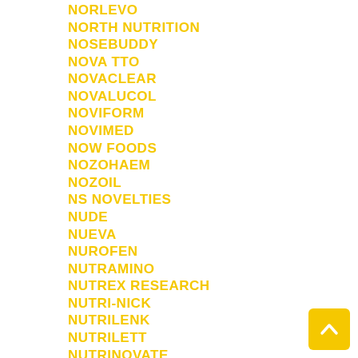NORLEVO
NORTH NUTRITION
NOSEBUDDY
NOVA TTO
NOVACLEAR
NOVALUCOL
NOVIFORM
NOVIMED
NOW FOODS
NOZOHAEM
NOZOIL
NS NOVELTIES
NUDE
NUEVA
NUROFEN
NUTRAMINO
NUTREX RESEARCH
NUTRI-NICK
NUTRILENK
NUTRILETT
NUTRINOVATE
NUTRIVIAN
NUTRIVISION